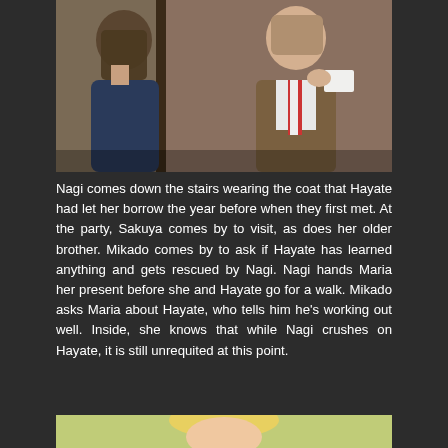[Figure (screenshot): Anime screenshot showing two characters: a person with brown hair viewed from behind, and another character in a brown coat with a red/white striped tie holding a piece of paper, standing near a doorway.]
Nagi comes down the stairs wearing the coat that Hayate had let her borrow the year before when they first met. At the party, Sakuya comes by to visit, as does her older brother. Mikado comes by to ask if Hayate has learned anything and gets rescued by Nagi. Nagi hands Maria her present before she and Hayate go for a walk. Mikado asks Maria about Hayate, who tells him he's working out well. Inside, she knows that while Nagi crushes on Hayate, it is still unrequited at this point.
[Figure (screenshot): Anime screenshot showing a young blonde-haired girl with long twintails, wearing a pink outfit with a white bow, holding a pink object (possibly a rolled scroll or gift), looking slightly to the side with a neutral expression against a light green/yellow background.]